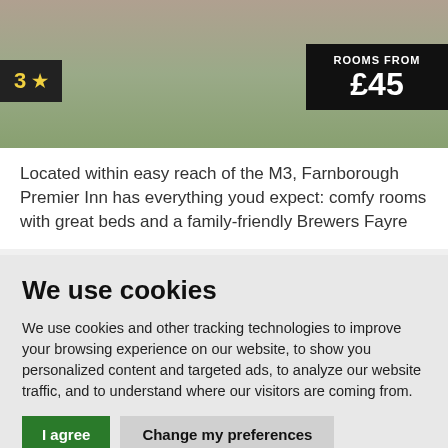[Figure (photo): Hotel exterior photo showing parking area and green hedges/bushes with a beige/grey building background]
3 ★
ROOMS FROM £45
Located within easy reach of the M3, Farnborough Premier Inn has everything youd expect: comfy rooms with great beds and a family-friendly Brewers Fayre
We use cookies
We use cookies and other tracking technologies to improve your browsing experience on our website, to show you personalized content and targeted ads, to analyze our website traffic, and to understand where our visitors are coming from.
I agree   Change my preferences